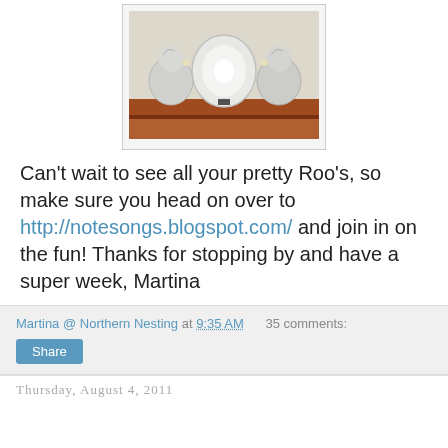[Figure (photo): Photo of white decorative roosters/chickens flanking a white plate with ribbon, displayed on a wooden shelf. Image shown with light border.]
Can't wait to see all your pretty Roo's, so make sure you head on over to http://notesongs.blogspot.com/ and join in on the fun! Thanks for stopping by and have a super week, Martina
Martina @ Northern Nesting at 9:35 AM    35 comments:
Share
Thursday, August 4, 2011